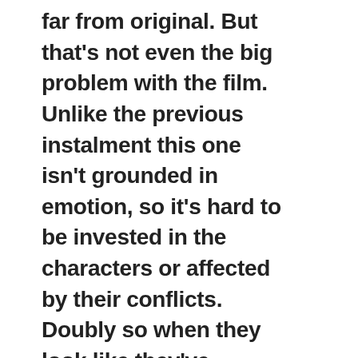far from original. But that's not even the big problem with the film. Unlike the previous instalment this one isn't grounded in emotion, so it's hard to be invested in the characters or affected by their conflicts. Doubly so when they look like they've stepped straight out of the pages of a fashion magazine. The girls, of course, never have a hair out of place, or a chipped nail in sight.